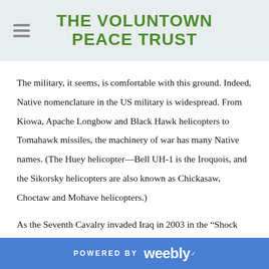THE VOLUNTOWN PEACE TRUST
The military, it seems, is comfortable with this ground. Indeed, Native nomenclature in the US military is widespread. From Kiowa, Apache Longbow and Black Hawk helicopters to Tomahawk missiles, the machinery of war has many Native names. (The Huey helicopter—Bell UH-1 is the Iroquois, and the Sikorsky helicopters are also known as Chickasaw, Choctaw and Mohave helicopters.)
As the Seventh Cavalry invaded Iraq in 2003 in the “Shock and Awe” campaign that opened the war, one could not help note that this was the name of the cavalry division that had
POWERED BY weebly